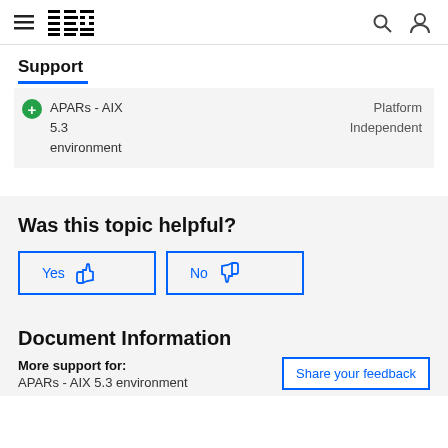IBM Support
Support
APARs - AIX 5.3 environment | Platform Independent
Was this topic helpful?
Yes | No
Document Information
More support for: APARs - AIX 5.3 environment
Share your feedback